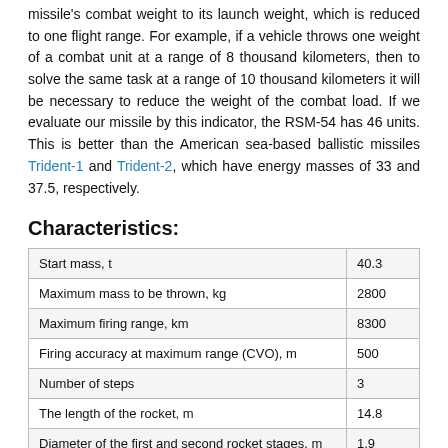missile's combat weight to its launch weight, which is reduced to one flight range. For example, if a vehicle throws one weight of a combat unit at a range of 8 thousand kilometers, then to solve the same task at a range of 10 thousand kilometers it will be necessary to reduce the weight of the combat load. If we evaluate our missile by this indicator, the RSM-54 has 46 units. This is better than the American sea-based ballistic missiles Trident-1 and Trident-2, which have energy masses of 33 and 37.5, respectively.
Characteristics:
|  |  |
| --- | --- |
| Start mass, t | 40.3 |
| Maximum mass to be thrown, kg | 2800 |
| Maximum firing range, km | 8300 |
| Firing accuracy at maximum range (CVO), m | 500 |
| Number of steps | 3 |
| The length of the rocket, m | 14.8 |
| Diameter of the first and second rocket stages, m | 1.9 |